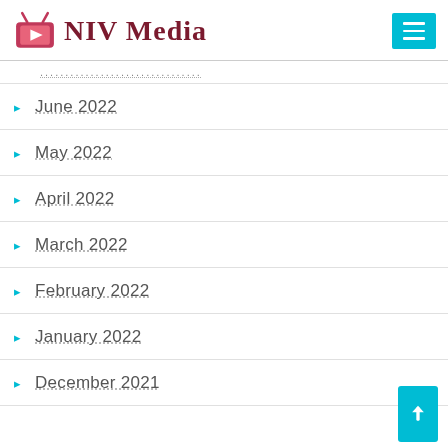[Figure (logo): NIV Media logo with pink TV icon and dark red serif text]
June 2022
May 2022
April 2022
March 2022
February 2022
January 2022
December 2021